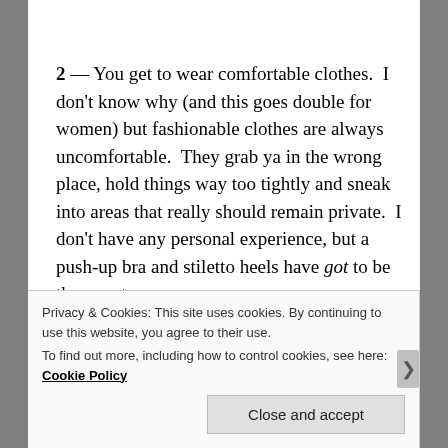2 — You get to wear comfortable clothes.  I don't know why (and this goes double for women) but fashionable clothes are always uncomfortable.  They grab ya in the wrong place, hold things way too tightly and sneak into areas that really should remain private.  I don't have any personal experience, but a push-up bra and stiletto heels have got to be the worst.
Privacy & Cookies: This site uses cookies. By continuing to use this website, you agree to their use.
To find out more, including how to control cookies, see here: Cookie Policy
Close and accept